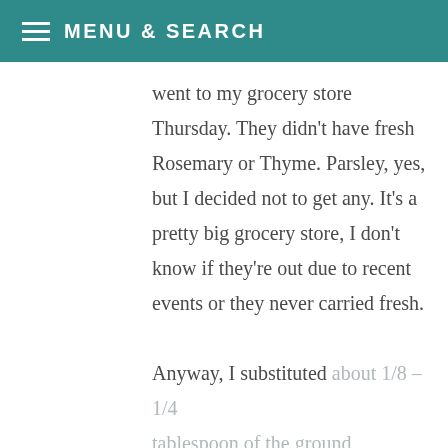MENU & SEARCH
went to my grocery store Thursday. They didn't have fresh Rosemary or Thyme. Parsley, yes, but I decided not to get any. It's a pretty big grocery store, I don't know if they're out due to recent events or they never carried fresh.

Anyway, I substituted about 1/8 – 1/4 tablespoon of the ground